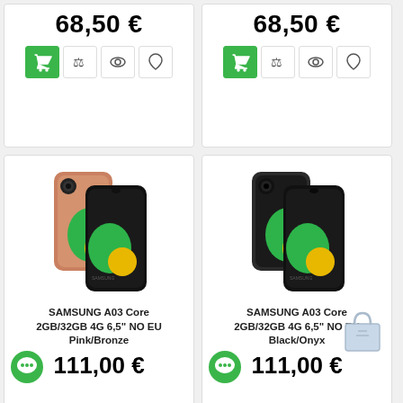[Figure (screenshot): Top-left product card showing price 68,50 € with shopping cart, compare, view, and wishlist icons]
[Figure (screenshot): Top-right product card showing price 68,50 € with shopping cart, compare, view, and wishlist icons]
[Figure (photo): Samsung A03 Core 2GB/32GB 4G 6.5 inch NO EU Pink/Bronze smartphone product image]
SAMSUNG A03 Core 2GB/32GB 4G 6,5" NO EU Pink/Bronze
111,00 €
[Figure (photo): Samsung A03 Core 2GB/32GB 4G 6.5 inch NO EU Black/Onyx smartphone product image]
SAMSUNG A03 Core 2GB/32GB 4G 6,5" NO EU Black/Onyx
111,00 €